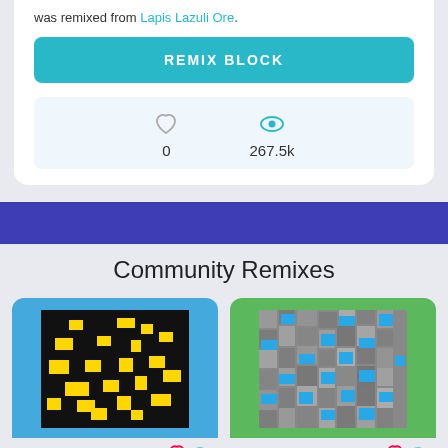was remixed from Lapis Lazuli Ore.
REMIX BLOCK
0
267.5k
Community Remixes
[Figure (illustration): Pixel art of Noob Lapis Ore: black background with scattered yellow square pixels]
Noob Lapis Ore
by ...
[Figure (illustration): Pixel art of Aquamarine Ore: gray stone texture with scattered blue square pixels]
Aquamarine Ore
by HewoMcNoob